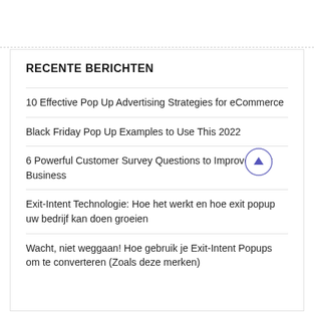RECENTE BERICHTEN
10 Effective Pop Up Advertising Strategies for eCommerce
Black Friday Pop Up Examples to Use This 2022
6 Powerful Customer Survey Questions to Improve Your Business
Exit-Intent Technologie: Hoe het werkt en hoe exit popup uw bedrijf kan doen groeien
Wacht, niet weggaan! Hoe gebruik je Exit-Intent Popups om te converteren (Zoals deze merken)